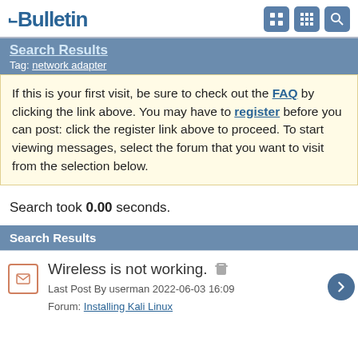vBulletin
Search Results — Tag: network adapter
If this is your first visit, be sure to check out the FAQ by clicking the link above. You may have to register before you can post: click the register link above to proceed. To start viewing messages, select the forum that you want to visit from the selection below.
Search took 0.00 seconds.
Search Results
Wireless is not working.
Last Post By userman 2022-06-03 16:09
Forum: Installing Kali Linux